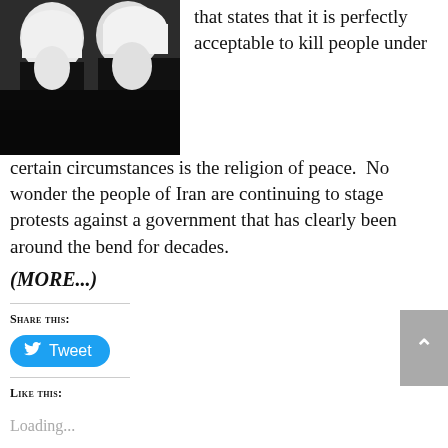[Figure (photo): Black and white photo of two elderly men wearing white turbans and dark robes, appearing to be Islamic clerics, in profile view]
that states that it is perfectly acceptable to kill people under certain circumstances is the religion of peace.  No wonder the people of Iran are continuing to stage protests against a government that has clearly been around the bend for decades.
(MORE...)
Share this:
Tweet
Like this:
Loading...